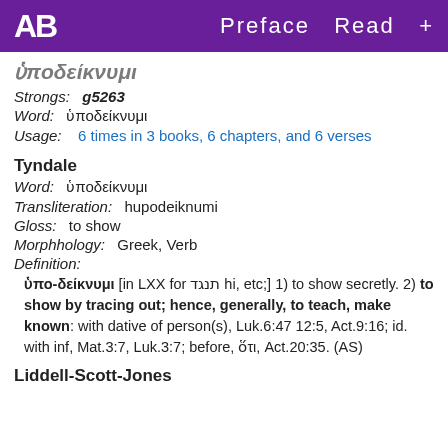AB   Preface  Read  +
ὑποδείκνυμι (partial/cutoff)
Strongs: g5263
Word: ὑποδείκνυμι
Usage: 6 times in 3 books, 6 chapters, and 6 verses
Tyndale
Word: ὑποδείκνυμι
Transliteration: hupodeiknumi
Gloss: to show
Morphhology: Greek, Verb
Definition:
ὑπο-δείκνυμι [in LXX for תנגד hi, etc;] 1) to show secretly. 2) to show by tracing out; hence, generally, to teach, make known: with dative of person(s), Luk.6:47 12:5, Act.9:16; id. with inf, Mat.3:7, Luk.3:7; before, ὅτι, Act.20:35. (AS)
Liddell-Scott-Jones